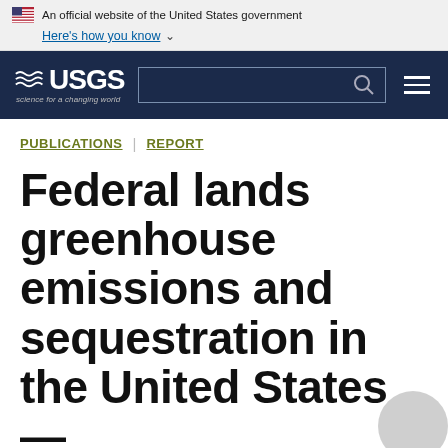An official website of the United States government
Here's how you know
[Figure (logo): USGS logo with navigation bar including search box and menu icon on dark navy background]
PUBLICATIONS | REPORT
Federal lands greenhouse emissions and sequestration in the United States —